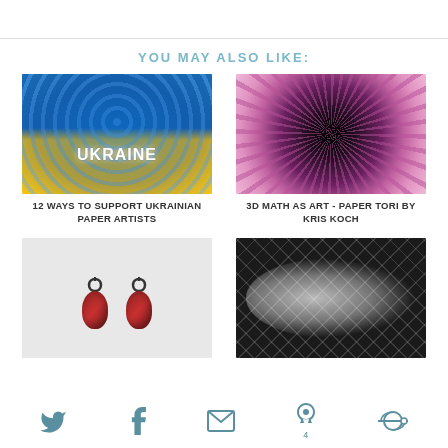YOU MAY ALSO LIKE:
[Figure (photo): Circular quilling art piece with Ukraine text, blue and yellow colors]
12 WAYS TO SUPPORT UKRAINIAN PAPER ARTISTS
[Figure (photo): Close-up of a pink flower with dark center, radial petal pattern]
3D MATH AS ART - PAPER TORI BY KRIS KOCH
[Figure (photo): Pair of dark metal and red wood drop earrings]
[Figure (photo): White geometric lace-like paper sculpture on dark background]
Twitter Facebook Email Pinterest 4 Flipboard